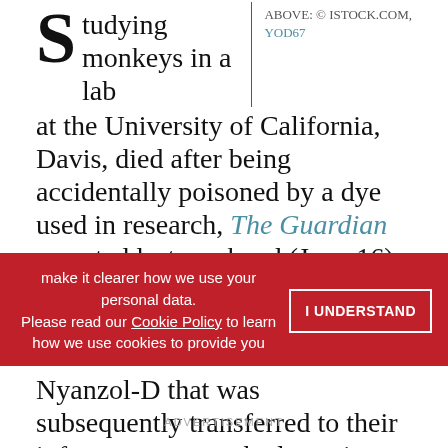S tudying monkeys in a lab at the University of California, Davis, died after being accidentally poisoned by a dye used in research, The Guardian reported last weekend (June 16). The deaths, which occurred after the monkeys' mothers were marked for identification with Nyanzol-D that was subsequently transferred to their infants, represent the latest in a string of ethical ordeals for the university's primate research
ABOVE: © ISTOCK.COM, YOD67
make it clearer how we use your personal data. Please read our Cookie Policy to learn how we use cookies to provide you
I UNDERSTAND
ADVERTISEMENT